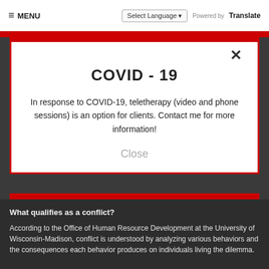≡ MENU   Select Language ▾   Powered by  Translate
COVID - 19
In response to COVID-19, teletherapy (video and phone sessions) is an option for clients. Contact me for more information!
Close
What qualifies as a conflict?
According to the Office of Human Resource Development at the University of Wisconsin-Madison, conflict is understood by analyzing various behaviors and the consequences each behavior produces on individuals living the dilemma.